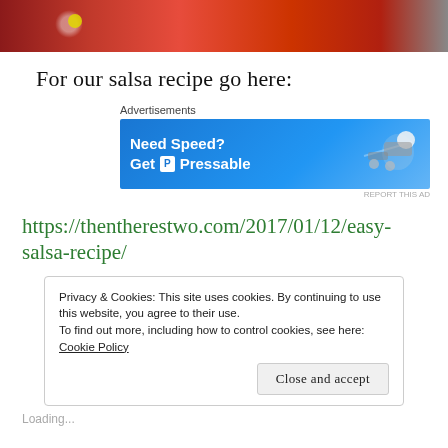[Figure (photo): Partial photo strip of red peppers/tomatoes at top of page]
For our salsa recipe go here:
[Figure (other): Advertisement banner: Need Speed? Get Pressable]
https://thentherestwo.com/2017/01/12/easy-salsa-recipe/
Privacy & Cookies: This site uses cookies. By continuing to use this website, you agree to their use.
To find out more, including how to control cookies, see here:
Cookie Policy
Close and accept
Loading...